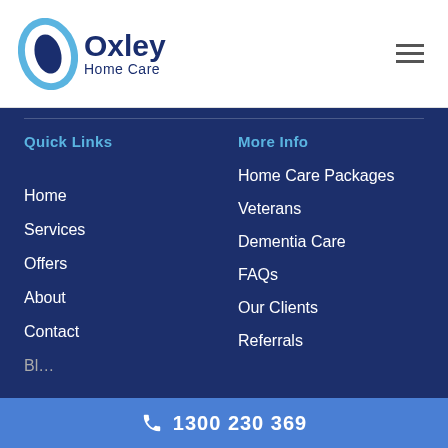[Figure (logo): Oxley Home Care logo with oval swoosh icon and company name]
Quick Links
More Info
Home
Services
Offers
About
Contact
Home Care Packages
Veterans
Dementia Care
FAQs
Our Clients
Referrals
1300 230 369